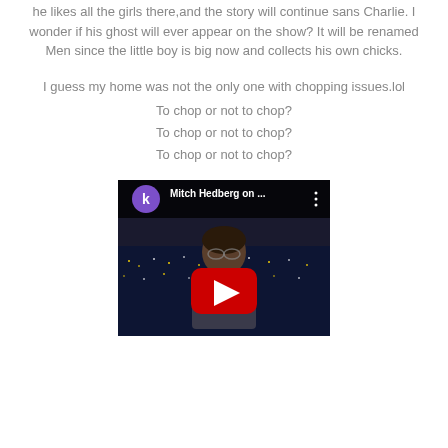he likes all the girls there,and the story will continue sans Charlie. I wonder if his ghost will ever appear on the show? It will be renamed Men since the little boy is big now and collects his own chicks.
I guess my home was not the only one with chopping issues.lol
To chop or not to chop?
To chop or not to chop?
To chop or not to chop?
[Figure (screenshot): YouTube video thumbnail showing Mitch Hedberg on a talk show stage with city lights background, purple channel avatar with letter k, title 'Mitch Hedberg on ...' and a red YouTube play button overlay]